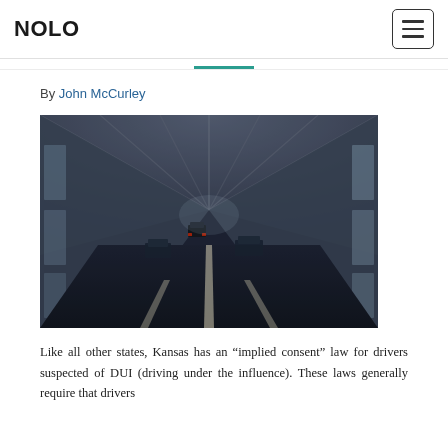NOLO
By John McCurley
[Figure (photo): A motion-blurred photograph taken from inside a vehicle driving through a tunnel or underpass, showing cars ahead and concrete ceiling structure above. Dark, dramatic perspective shot.]
Like all other states, Kansas has an “implied consent” law for drivers suspected of DUI (driving under the influence). These laws generally require that drivers